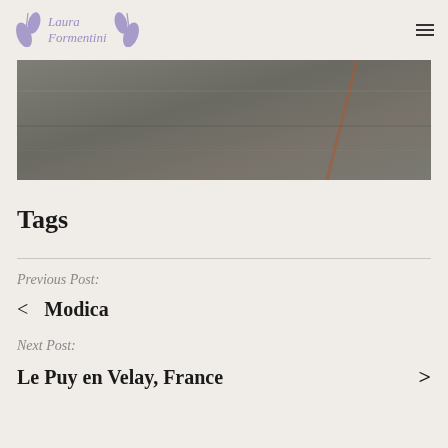Laura Formentini
[Figure (photo): Aerial or landscape photograph showing a grey-toned field or ground surface with a diagonal orange-brown line or mark crossing it.]
Tags
Previous Post:
< Modica
Next Post:
Le Puy en Velay, France >